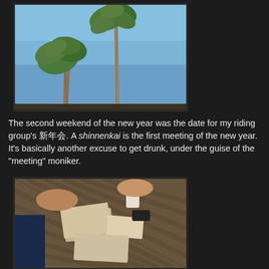[Figure (photo): Two tall palm trees photographed from below against a clear blue sky, taken at an angle showing the trunks stretching upward]
The second weekend of the new year was the date for my riding group's 新年会. A shinnenkai is the first meeting of the new year. It's basically another excuse to get drunk, under the guise of the "meeting" moniker.
[Figure (photo): Overhead view of a wooden slatted table with people's hands visible, papers, cards, cups and small objects scattered on the table surface]